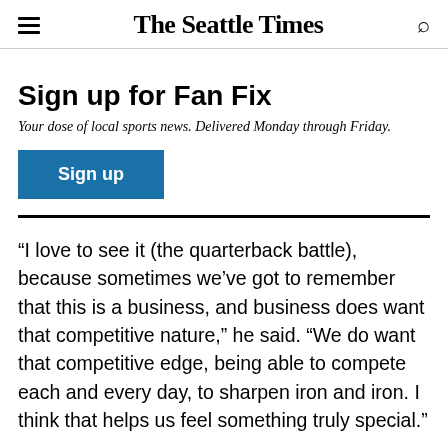The Seattle Times
Sign up for Fan Fix
Your dose of local sports news. Delivered Monday through Friday.
Sign up
“I love to see it (the quarterback battle), because sometimes we’ve got to remember that this is a business, and business does want that competitive nature,” he said. “We do want that competitive edge, being able to compete each and every day, to sharpen iron and iron. I think that helps us feel something truly special.”
Lockett returned to camp this week as not only